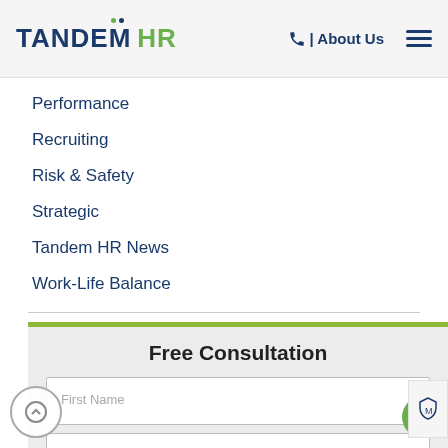TANDEM HR | About Us
Performance
Recruiting
Risk & Safety
Strategic
Tandem HR News
Work-Life Balance
Free Consultation
First Name
Last Name